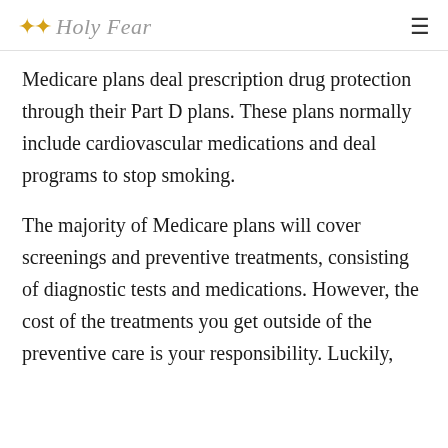✦✦ Holy Fear
Medicare plans deal prescription drug protection through their Part D plans. These plans normally include cardiovascular medications and deal programs to stop smoking.
The majority of Medicare plans will cover screenings and preventive treatments, consisting of diagnostic tests and medications. However, the cost of the treatments you get outside of the preventive care is your responsibility. Luckily,